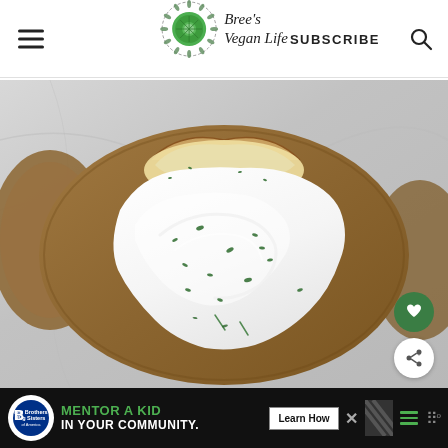Bree's Vegan Life | SUBSCRIBE
[Figure (photo): Close-up overhead photo of a baked potato topped with white vegan sour cream and chopped green herbs/chives, on a light marble surface. Another potato is partially visible in the background.]
MENTOR A KID IN YOUR COMMUNITY. Learn How